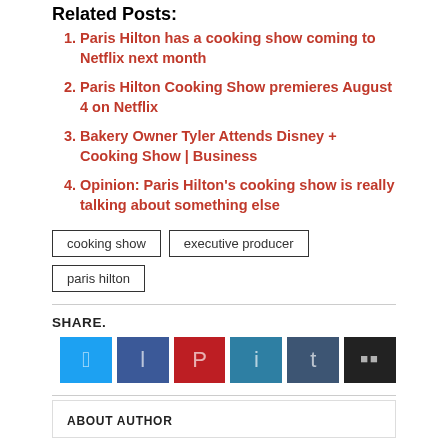Related Posts:
Paris Hilton has a cooking show coming to Netflix next month
Paris Hilton Cooking Show premieres August 4 on Netflix
Bakery Owner Tyler Attends Disney + Cooking Show | Business
Opinion: Paris Hilton’s cooking show is really talking about something else
cooking show   executive producer   paris hilton
SHARE.
[Figure (other): Social share buttons: Twitter (light blue), Facebook (dark blue), Pinterest (red), LinkedIn (teal), Tumblr (steel blue), More (dark/black with two squares icon)]
ABOUT AUTHOR